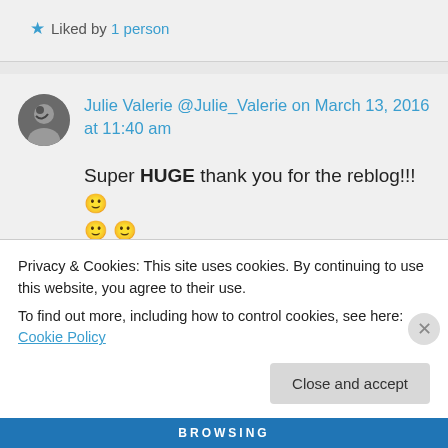★ Liked by 1 person
Julie Valerie @Julie_Valerie on March 13, 2016 at 11:40 am
Super HUGE thank you for the reblog!!! 🙂 🙂 🙂
★ Liked by 1 person
Privacy & Cookies: This site uses cookies. By continuing to use this website, you agree to their use. To find out more, including how to control cookies, see here: Cookie Policy
Close and accept